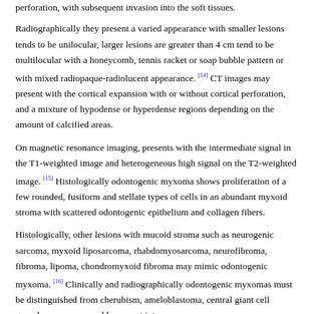perforation, with subsequent invasion into the soft tissues.
Radiographically they present a varied appearance with smaller lesions tends to be unilocular, larger lesions are greater than 4 cm tend to be multilocular with a honeycomb, tennis racket or soap bubble pattern or with mixed radiopaque-radiolucent appearance. [14] CT images may present with the cortical expansion with or without cortical perforation, and a mixture of hypodense or hyperdense regions depending on the amount of calcified areas.
On magnetic resonance imaging, presents with the intermediate signal in the T1-weighted image and heterogeneous high signal on the T2-weighted image. [15] Histologically odontogenic myxoma shows proliferation of a few rounded, fusiform and stellate types of cells in an abundant myxoid stroma with scattered odontogenic epithelium and collagen fibers.
Histologically, other lesions with mucoid stroma such as neurogenic sarcoma, myxoid liposarcoma, rhabdomyosarcoma, neurofibroma, fibroma, lipoma, chondromyxoid fibroma may mimic odontogenic myxoma. [16] Clinically and radiographically odontogenic myxomas must be distinguished from cherubism, ameloblastoma, central giant cell granuloma, aneurysmal bone cyst intraosseous